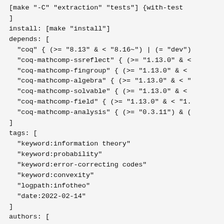[make "-C" "extraction" "tests"] {with-test
]
install: [make "install"]
depends: [
  "coq" { (>= "8.13" & < "8.16~") | (= "dev")
  "coq-mathcomp-ssreflect" { (>= "1.13.0" & <
  "coq-mathcomp-fingroup" { (>= "1.13.0" & <
  "coq-mathcomp-algebra" { (>= "1.13.0" & < "
  "coq-mathcomp-solvable" { (>= "1.13.0" & <
  "coq-mathcomp-field" { (>= "1.13.0" & < "1.
  "coq-mathcomp-analysis" { (>= "0.3.11") & (
]
tags: [
  "keyword:information theory"
  "keyword:probability"
  "keyword:error-correcting codes"
  "keyword:convexity"
  "logpath:infotheo"
  "date:2022-02-14"
]
authors: [